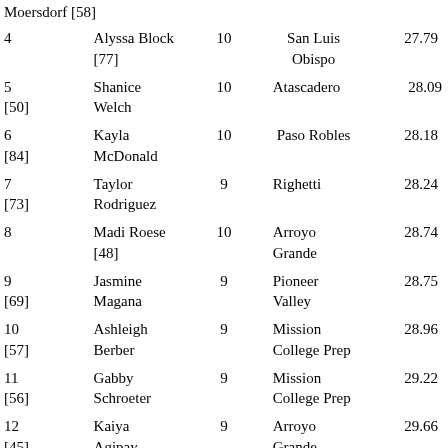| Place | Name | Grade | School | Time |
| --- | --- | --- | --- | --- |
| (partial) Moersdorf [58] |  |  |  |  |
| 4 | Alyssa Block [77] | 10 | San Luis Obispo | 27.79 |
| 5
[50] | Shanice Welch | 10 | Atascadero | 28.09 |
| 6
[84] | Kayla McDonald | 10 | Paso Robles | 28.18 |
| 7
[73] | Taylor Rodriguez | 9 | Righetti | 28.24 |
| 8 | Madi Roese [48] | 10 | Arroyo Grande | 28.74 |
| 9
[69] | Jasmine Magana | 9 | Pioneer Valley | 28.75 |
| 10
[57] | Ashleigh Berber | 9 | Mission College Prep | 28.96 |
| 11
[56] | Gabby Schroeter | 9 | Mission College Prep | 29.22 |
| 12
[45] | Kaiya Agipay | 9 | Arroyo Grande | 29.66 |
| 13
[61] | Naomi Wells | 9 | Paso Robles | 29.77 |
| 14
... | Jasmin Garc... |  |  |  |